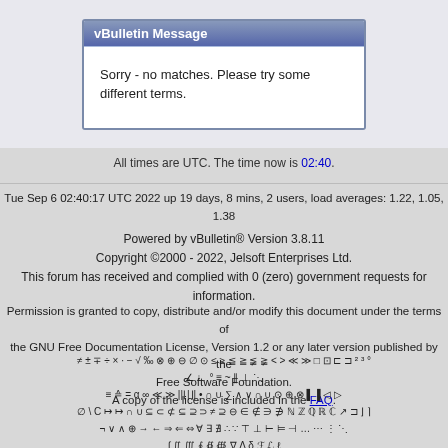vBulletin Message
Sorry - no matches. Please try some different terms.
All times are UTC. The time now is 02:40.
Tue Sep 6 02:40:17 UTC 2022 up 19 days, 8 mins, 2 users, load averages: 1.22, 1.05, 1.38
Powered by vBulletin® Version 3.8.11
Copyright ©2000 - 2022, Jelsoft Enterprises Ltd.
This forum has received and complied with 0 (zero) government requests for information.
Permission is granted to copy, distribute and/or modify this document under the terms of the GNU Free Documentation License, Version 1.2 or any later version published by the Free Software Foundation.
A copy of the license is included in the FAQ.
≠ ± ∓ ÷ × · − √ ‰ ⊗ ⊕ ⊖ ∅ ⊙ ≤ ≥ ≦ ≧ ≨ ≩ < > ≪ ≫ □ ⊡ ⊏ ⊐ ² ³ °
∠ ∟ ° ≡ ~ ∥ ⊥ ⋱
≡ ≙ = α ∞ ≪ ≫ |⌊|⌋| • ∩ ∪ ∑ ∧ ∨ ∩ ∪ ⊙ ⊕ ⊗ ▌▐ ◁ ▷
∅ \ C ↦ ↦ ∩ ∪ ⊆ ⊂ ⊄ ⊆ ⊇ ⊃ ≠ ⊇ ⊖ ∈ ∉ ∋ ∌ ℕ ℤ ℚ ℝ ℂ ↗ ⊐ ⌋ ⌉
¬ ∨ ∧ ⊕ → ← ⇒ ⇐ ⇔ ∀ ∃ ∄ ∴ ∵ ⊤ ⊥ ⊢ ⊨ ⊣ … ⋯ ⋮ ⋱
∫ ∬ ∭ ∮ ∯ ∰ ∇ Δ δ ℱ ℒ ℓ